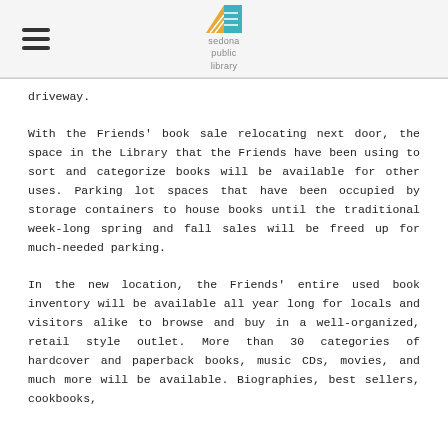Sedona Public Library
driveway.
With the Friends' book sale relocating next door, the space in the Library that the Friends have been using to sort and categorize books will be available for other uses. Parking lot spaces that have been occupied by storage containers to house books until the traditional week-long spring and fall sales will be freed up for much-needed parking.
In the new location, the Friends' entire used book inventory will be available all year long for locals and visitors alike to browse and buy in a well-organized, retail style outlet. More than 30 categories of hardcover and paperback books, music CDs, movies, and much more will be available. Biographies, best sellers, cookbooks,